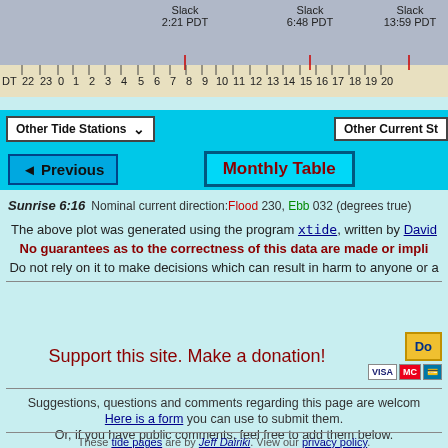[Figure (other): Tide chart ruler showing Slack times at 2:21 PDT, 6:48 PDT, 13:59 PDT with hour numbers 22-20]
Other Tide Stations ▾
Other Current St
◄Previous
Monthly Table
Sunrise 6:16   Nominal current direction:Flood 230, Ebb 032 (degrees true)
The above plot was generated using the program xtide, written by David
No guarantees as to the correctness of this data are made or impli
Do not rely on it to make decisions which can result in harm to anyone or a
Support this site. Make a donation!
Suggestions, questions and comments regarding this page are welcom
Here is a form you can use to submit them.
Or, if you have public comments, feel free to add them below.
These tide pages are by Jeff Dairiki.
View our privacy policy.
Generated by xtide-html version git/4.57/20220228T2015Z